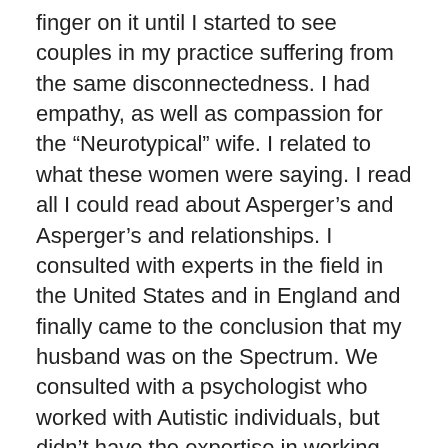finger on it until I started to see couples in my practice suffering from the same disconnectedness. I had empathy, as well as compassion for the “Neurotypical” wife. I related to what these women were saying. I read all I could read about Asperger’s and Asperger’s and relationships. I consulted with experts in the field in the United States and in England and finally came to the conclusion that my husband was on the Spectrum. We consulted with a psychologist who worked with Autistic individuals, but didn’t have the expertise in working with Neurodiverse Couples. We were frustrated for our relationship and disappointed realizing we were spending hundreds of dollars on marriage counseling that wasn’t working.
The most important indicator for success in